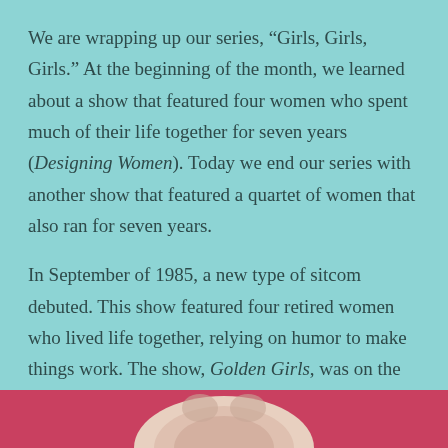We are wrapping up our series, “Girls, Girls, Girls.” At the beginning of the month, we learned about a show that featured four women who spent much of their life together for seven years (Designing Women). Today we end our series with another show that featured a quartet of women that also ran for seven years.
In September of 1985, a new type of sitcom debuted. This show featured four retired women who lived life together, relying on humor to make things work. The show, Golden Girls, was on the air seven years, ending in 1992 and producing 177 episodes. The show was always on Saturday nights with the seventh season moving to an earlier hour.
[Figure (photo): Bottom strip showing the top of a person's head against a red/pink background, partially visible at the bottom of the page.]